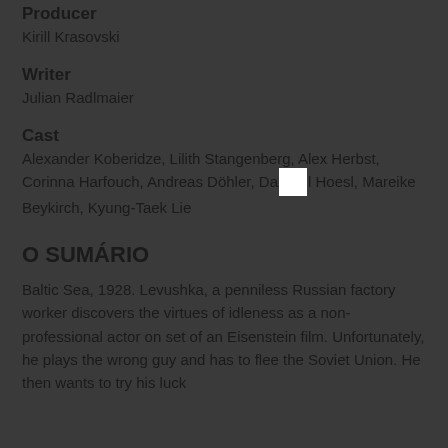Producer
Kirill Krasovski
Writer
Julian Radlmaier
Cast
Alexander Koberidze, Lilith Stangenberg, Alex Herbst, Corinna Harfouch, Andreas Döhler, Daniel Hoesl, Mareike Beykirch, Kyung-Taek Lie
O SUMÁRIO
Baltic Sea, 1928. Levushka, a penniless Russian factory worker discovers the virtues of idleness as a non-professional actor on set of an Eisenstein film. Unfortunately, he plays the wrong guy and has to flee the Soviet Union. He then wants to try his luck